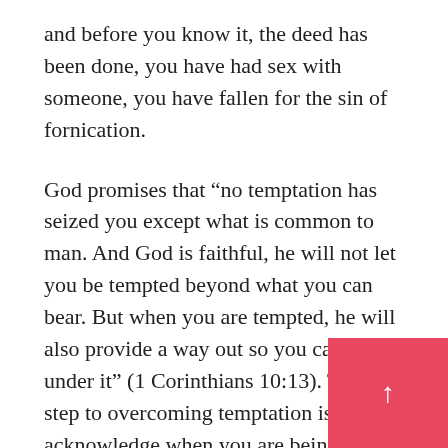and before you know it, the deed has been done, you have had sex with someone, you have fallen for the sin of fornication.
God promises that “no temptation has seized you except what is common to man. And God is faithful, he will not let you be tempted beyond what you can bear. But when you are tempted, he will also provide a way out so you can stand under it” (1 Corinthians 10:13). The first step to overcoming temptation is to acknowledge when you are being tempted and enticed into sin. If you believe that so far as you don’t do the final and actual act, is wrong with a little kissing and necking, th